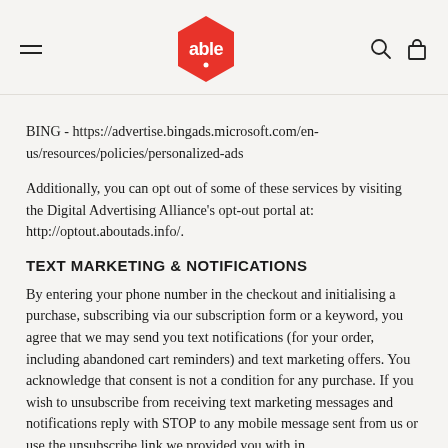able (logo)
BING - https://advertise.bingads.microsoft.com/en-us/resources/policies/personalized-ads
Additionally, you can opt out of some of these services by visiting the Digital Advertising Alliance's opt-out portal at: http://optout.aboutads.info/.
TEXT MARKETING & NOTIFICATIONS
By entering your phone number in the checkout and initialising a purchase, subscribing via our subscription form or a keyword, you agree that we may send you text notifications (for your order, including abandoned cart reminders) and text marketing offers. You acknowledge that consent is not a condition for any purchase. If you wish to unsubscribe from receiving text marketing messages and notifications reply with STOP to any mobile message sent from us or use the unsubscribe link we provided you with in